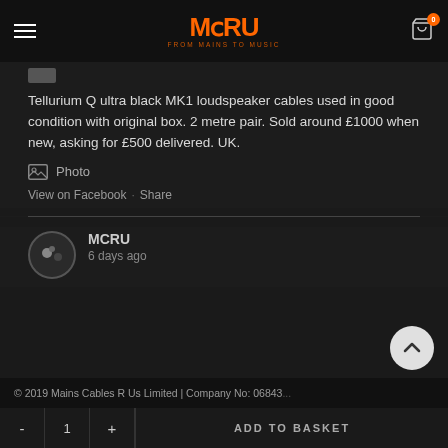MCRU — FROM MAINS TO MUSIC
Tellurium Q ultra black MK1 loudspeaker cables used in good condition with original box. 2 metre pair. Sold around £1000 when new, asking for £500 delivered. UK.
Photo
View on Facebook · Share
MCRU
6 days ago
© 2019 Mains Cables R Us Limited | Company No: 06843...